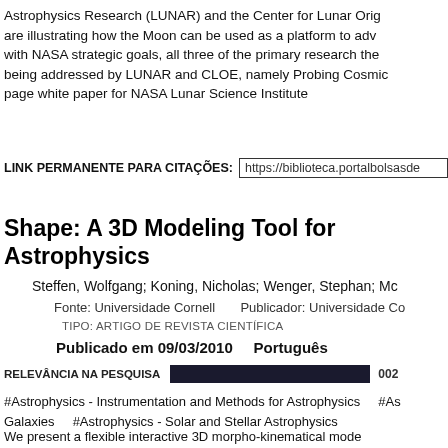Astrophysics Research (LUNAR) and the Center for Lunar Orig are illustrating how the Moon can be used as a platform to adv with NASA strategic goals, all three of the primary research the being addressed by LUNAR and CLOE, namely Probing Cosmic page white paper for NASA Lunar Science Institute
LINK PERMANENTE PARA CITAÇÕES: https://biblioteca.portalbolsasde
Shape: A 3D Modeling Tool for Astrophysics
Steffen, Wolfgang; Koning, Nicholas; Wenger, Stephan; Mc
Fonte: Universidade Cornell   Publicador: Universidade Co
TIPO: ARTIGO DE REVISTA CIENTÍFICA
Publicado em 09/03/2010   Português
RELEVÂNCIA NA PESQUISA  [bar] 002
#Astrophysics - Instrumentation and Methods for Astrophysics   #As Galaxies   #Astrophysics - Solar and Stellar Astrophysics
We present a flexible interactive 3D morpho-kinematical mode reduces the restrictions on the physical assumptions, data type one of the first publicly available tools to apply interactive gra